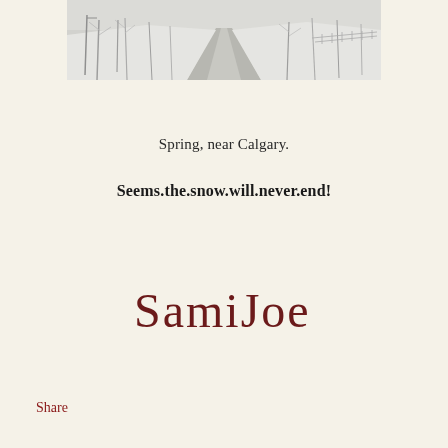[Figure (photo): A snowy winter/spring road lined with frost-covered trees, with a fence visible on the right side. Black and white or desaturated photograph taken near Calgary.]
Spring, near Calgary.
Seems.the.snow.will.never.end!
[Figure (illustration): Handwritten cursive signature reading 'SamiJoe' in dark reddish-brown ink]
Share